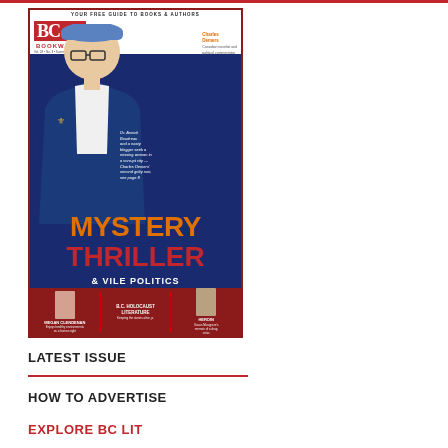[Figure (photo): BC Bookworld magazine cover featuring a man in a blue jacket and cap. Cover text reads: YOUR FREE GUIDE TO BOOKS & AUTHORS, BC BOOKWORLD, Charles Demers, MYSTERY THRILLER & VILE POLITICS, MEGAN CLENDENAN, B.C. HOLOCAUST LITERATURE, HEROIN]
LATEST ISSUE
HOW TO ADVERTISE
EXPLORE BC LIT